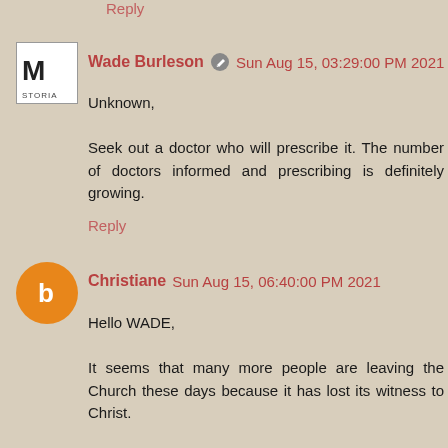Reply
Wade Burleson  Sun Aug 15, 03:29:00 PM 2021
Unknown,

Seek out a doctor who will prescribe it. The number of doctors informed and prescribing is definitely growing.
Reply
Christiane  Sun Aug 15, 06:40:00 PM 2021
Hello WADE,

It seems that many more people are leaving the Church these days because it has lost its witness to Christ.

I read something about young people leaving, not because they had lost THEIR faith in Our Lord, but because they felt that the Church had walked away from Him. It's an article by a Baptist named Russell Moore and I wonder if you might have read it? It references the harmful effects of the